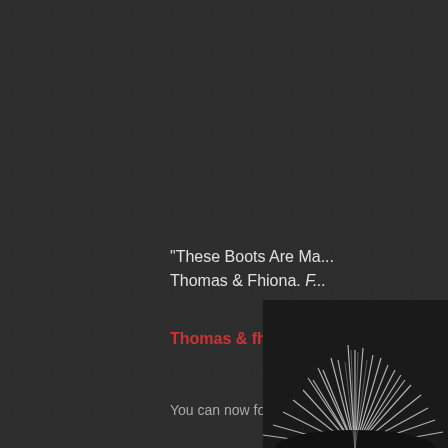"These Boots Are Ma... Thomas & Fhiona. F...
Thomas & fhiona on...
You can now follow Thom...
the best of thomas m...
[Figure (photo): Black and white photo of a spiky/feathery plant or hair, visible in the bottom-right corner of the page]